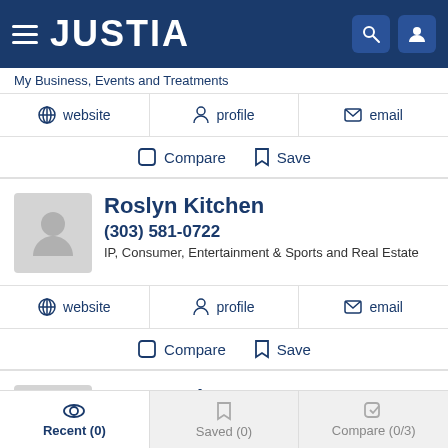JUSTIA
My Business, Events and Treatments
website   profile   email
Compare   Save
Roslyn Kitchen
(303) 581-0722
IP, Consumer, Entertainment & Sports and Real Estate
website   profile   email
Compare   Save
Brett Nathan Dorny
Recent (0)   Saved (0)   Compare (0/3)